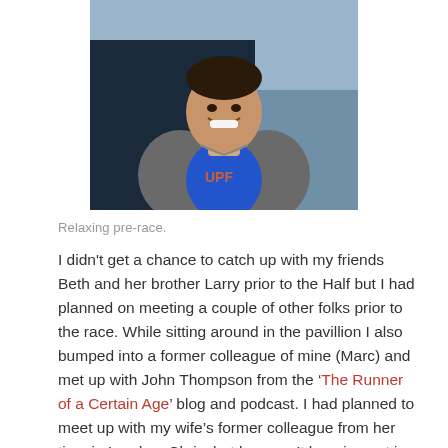[Figure (photo): A smiling man wearing a blue shirt and grey jacket, seated, taking a selfie-style photo at what appears to be a race event pavilion.]
Relaxing pre-race.
I didn't get a chance to catch up with my friends Beth and her brother Larry prior to the Half but I had planned on meeting a couple of other folks prior to the race. While sitting around in the pavillion I also bumped into a former colleague of mine (Marc) and met up with John Thompson from the 'The Runner of a Certain Age' blog and podcast. I had planned to meet up with my wife's former colleague from her time in London, Chris, but he wasn't hanging out in the pavilion. I later found out he was staying nearby with family and didn't plan